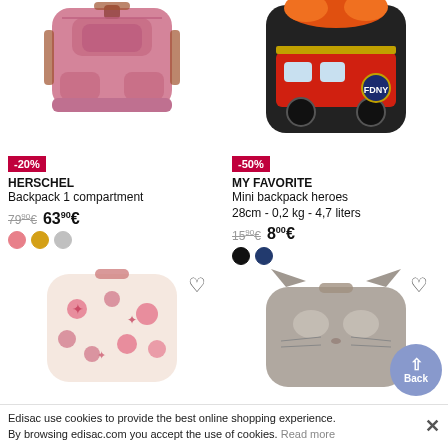[Figure (photo): Pink Herschel backpack product photo]
-20%
HERSCHEL
Backpack 1 compartment
79⁹⁰€  63⁹⁰€
[Figure (photo): My Favorite mini backpack heroes with fire truck design]
-50%
MY FAVORITE
Mini backpack heroes 28cm - 0,2 kg - 4,7 liters
15⁹⁰€  8⁰⁰€
[Figure (photo): Pink floral patterned backpack, partially visible]
[Figure (photo): Gray cat-face backpack, partially visible]
Edisac use cookies to provide the best online shopping experience. By browsing edisac.com you accept the use of cookies. Read more